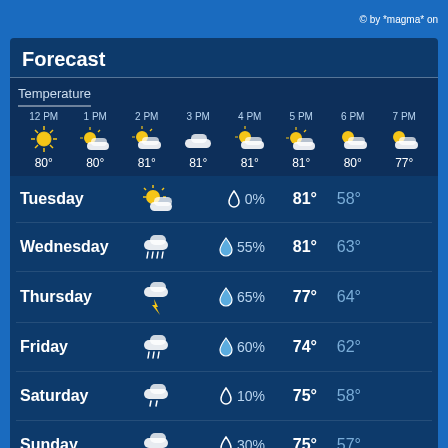© by *magma* on
Forecast
Temperature
| Time | 12 PM | 1 PM | 2 PM | 3 PM | 4 PM | 5 PM | 6 PM | 7 PM |
| --- | --- | --- | --- | --- | --- | --- | --- | --- |
| Temp | 80° | 80° | 81° | 81° | 81° | 81° | 80° | 77° |
| Day | Icon | Precip % | High | Low |
| --- | --- | --- | --- | --- |
| Tuesday | partly-sunny | 0% | 81° | 58° |
| Wednesday | thunderstorm-rain | 55% | 81° | 63° |
| Thursday | thunderstorm-lightning | 65% | 77° | 64° |
| Friday | rain-cloud | 60% | 74° | 62° |
| Saturday | light-rain | 10% | 75° | 58° |
| Sunday | rain-cloud | 30% | 75° | 57° |
| Monday | partly-sunny | 0% | 76° | 58° |